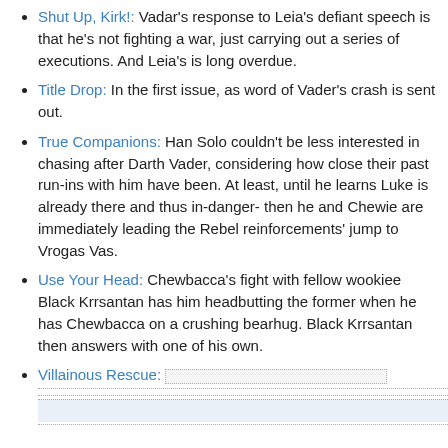Shut Up, Kirk!: Vadar's response to Leia's defiant speech is that he's not fighting a war, just carrying out a series of executions. And Leia's is long overdue.
Title Drop: In the first issue, as word of Vader's crash is sent out.
True Companions: Han Solo couldn't be less interested in chasing after Darth Vader, considering how close their past run-ins with him have been. At least, until he learns Luke is already there and thus in-danger- then he and Chewie are immediately leading the Rebel reinforcements' jump to Vrogas Vas.
Use Your Head: Chewbacca's fight with fellow wookiee Black Krrsantan has him headbutting the former when he has Chewbacca on a crushing bearhug. Black Krrsantan then answers with one of his own.
Villainous Rescue: [spoiler content]